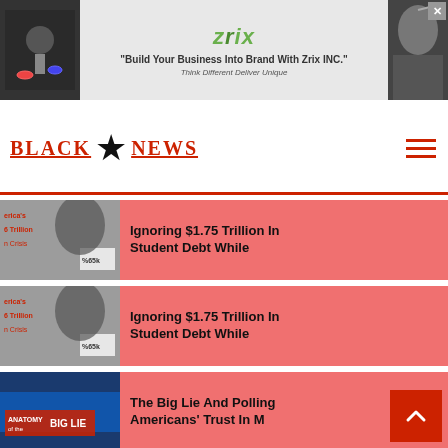[Figure (screenshot): Advertisement banner for Zrix INC with logo, tagline 'Build Your Business Into Brand With Zrix INC.' and subtext 'Think Different Deliver Unique']
BLACK ★ NEWS
Ignoring $1.75 Trillion In Student Debt While
Ignoring $1.75 Trillion In Student Debt While
The Big Lie And Polling Americans' Trust In M
Free School Lunches: A Healthy Start For Hung